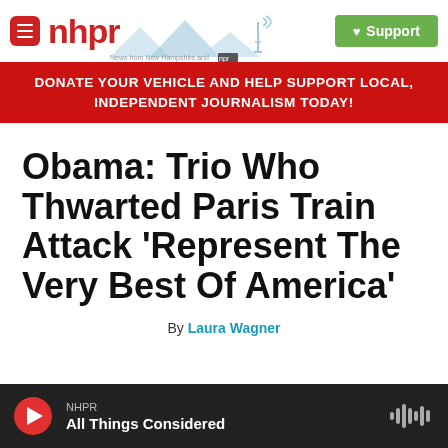nhpr — News from New Hampshire and NPR
DONATE YOUR VEHICLE AND HELP SUPPORT LOCAL, INDEPENDENT JOURNALISM TODAY!
Obama: Trio Who Thwarted Paris Train Attack 'Represent The Very Best Of America'
By Laura Wagner
NHPR — All Things Considered